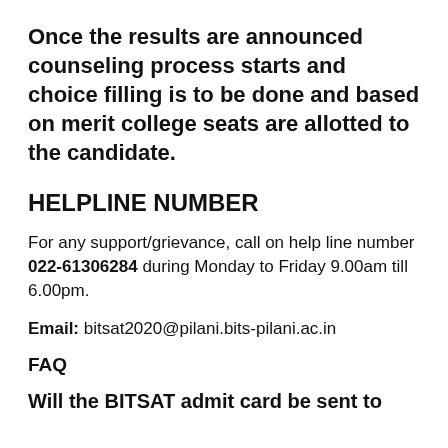Once the results are announced counseling process starts and choice filling is to be done and based on merit college seats are allotted to the candidate.
HELPLINE NUMBER
For any support/grievance, call on help line number 022-61306284 during Monday to Friday 9.00am till 6.00pm.
Email: bitsat2020@pilani.bits-pilani.ac.in
FAQ
Will the BITSAT admit card be sent to